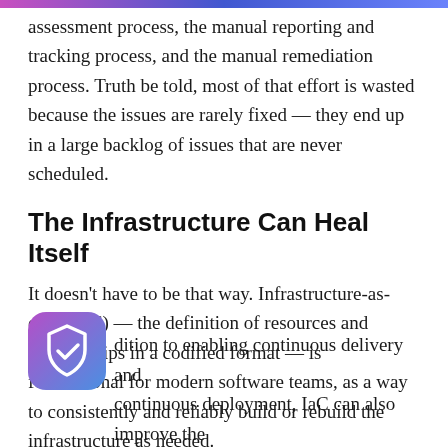assessment process, the manual reporting and tracking process, and the manual remediation process. Truth be told, most of that effort is wasted because the issues are rarely fixed — they end up in a large backlog of issues that are never scheduled.
The Infrastructure Can Heal Itself
It doesn't have to be that way. Infrastructure-as-code (IaC) — the definition of resources and relationships in a codified format — is foundational for modern software teams, as a way to consistently and reliably build or rebuild the infrastructure as needed.
In addition to enabling continuous delivery and continuous deployment, IaC can also improve the